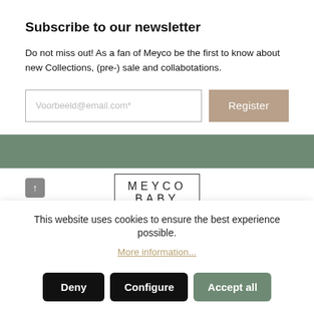Subscribe to our newsletter
Do not miss out! As a fan of Meyco be the first to know about new Collections, (pre-) sale and collabotations.
[Figure (screenshot): Email input field with placeholder 'Voorbeeld@email.com*' and a tan/beige 'Register' button]
[Figure (other): Sage green horizontal bar separator]
[Figure (logo): Meyco Baby logo in a rectangular border, with a back-to-top arrow button on the left]
This website uses cookies to ensure the best experience possible.
More information...
Deny
Configure
Accept all